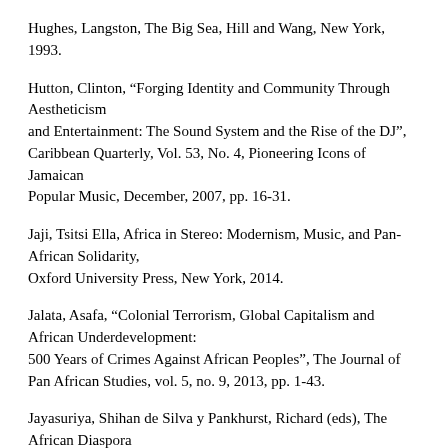Hughes, Langston, The Big Sea, Hill and Wang, New York, 1993.
Hutton, Clinton, “Forging Identity and Community Through Aestheticism and Entertainment: The Sound System and the Rise of the DJ”, Caribbean Quarterly, Vol. 53, No. 4, Pioneering Icons of Jamaican Popular Music, December, 2007, pp. 16-31.
Jaji, Tsitsi Ella, Africa in Stereo: Modernism, Music, and Pan-African Solidarity, Oxford University Press, New York, 2014.
Jalata, Asafa, “Colonial Terrorism, Global Capitalism and African Underdevelopment: 500 Years of Crimes Against African Peoples”, The Journal of Pan African Studies, vol. 5, no. 9, 2013, pp. 1-43.
Jayasuriya, Shihan de Silva y Pankhurst, Richard (eds), The African Diaspora in the Indian Ocean, Africa World Press, Inc., Trenton, NJ, 2003.